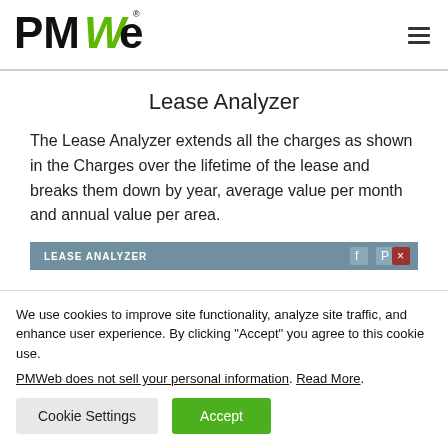PMWeb [logo] [hamburger menu]
Lease Analyzer
The Lease Analyzer extends all the charges as shown in the Charges over the lifetime of the lease and breaks them down by year, average value per month and annual value per area.
[Figure (screenshot): Partial screenshot of the Lease Analyzer interface showing a blue header bar with 'LEASE ANALYZER' text and control icons]
We use cookies to improve site functionality, analyze site traffic, and enhance user experience. By clicking "Accept" you agree to this cookie use.
PMWeb does not sell your personal information. Read More.